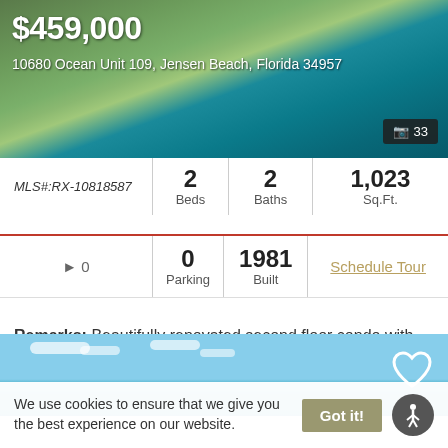[Figure (photo): Aerial/drone view of beachfront property with ocean and sandy beach visible, green rooftop area]
$459,000
10680 Ocean Unit 109, Jensen Beach, Florida 34957
| MLS# | Beds | Baths | Sq.Ft. |
| --- | --- | --- | --- |
| RX-10818587 | 2 | 2 | 1,023 |
| 0 (icon) | 0 Parking | 1981 Built | Schedule Tour |
Remarks: Beautifully renovated second floor condo with direct ocean view. granite breakfast bar in kitchen with new custom cabinets and sta...
[Figure (photo): Beachfront/ocean view with blue sky and clouds]
We use cookies to ensure that we give you the best experience on our website.